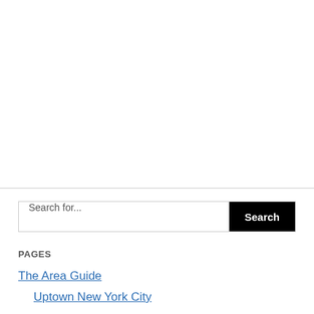[Figure (other): Large blank white area above a horizontal divider line, representing the top content area of a webpage sidebar]
Search for...
Search
PAGES
The Area Guide
Uptown New York City